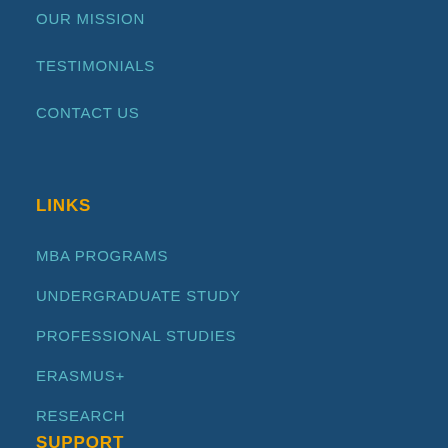OUR MISSION
TESTIMONIALS
CONTACT US
LINKS
MBA PROGRAMS
UNDERGRADUATE STUDY
PROFESSIONAL STUDIES
ERASMUS+
RESEARCH
SUPPORT